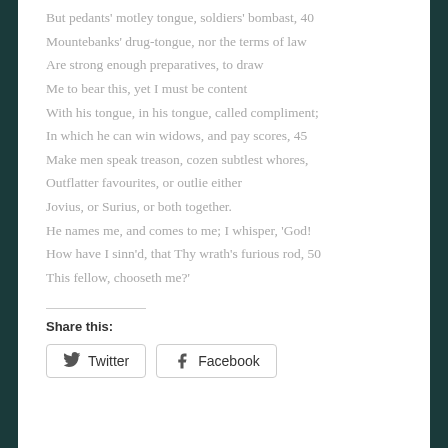But pedants' motley tongue, soldiers' bombast, 40
Mountebanks' drug-tongue, nor the terms of law
Are strong enough preparatives, to draw
Me to bear this, yet I must be content
With his tongue, in his tongue, called compliment;
In which he can win widows, and pay scores, 45
Make men speak treason, cozen subtlest whores,
Outflatter favourites, or outlie either
Jovius, or Surius, or both together.
He names me, and comes to me; I whisper, 'God!
How have I sinn'd, that Thy wrath's furious rod, 50
This fellow, chooseth me?'
Share this:
Twitter   Facebook